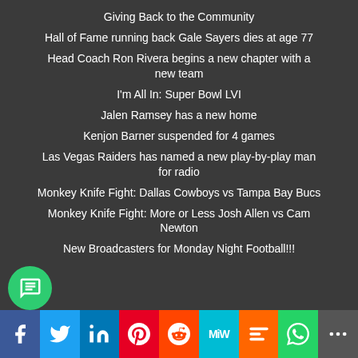Giving Back to the Community
Hall of Fame running back Gale Sayers dies at age 77
Head Coach Ron Rivera begins a new chapter with a new team
I'm All In: Super Bowl LVI
Jalen Ramsey has a new home
Kenjon Barner suspended for 4 games
Las Vegas Raiders has named a new play-by-play man for radio
Monkey Knife Fight: Dallas Cowboys vs Tampa Bay Bucs
Monkey Knife Fight: More or Less Josh Allen vs Cam Newton
New Broadcasters for Monday Night Football!!!